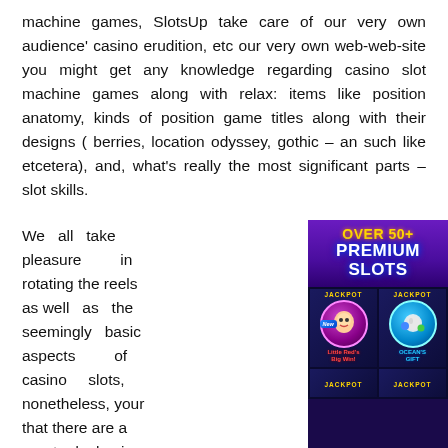machine games, SlotsUp take care of our very own audience' casino erudition, etc our very own web-web-site you might get any knowledge regarding casino slot machine games along with relax: items like position anatomy, kinds of position game titles along with their designs ( berries, location odyssey, gothic – an such like etcetera), and, what's really the most significant parts – slot skills.
We all take pleasure in rotating the reels as well as the seemingly basic aspects of casino slots, nonetheless, your that there are a great deal going
[Figure (illustration): Casino promotional banner showing 'OVER 50+ PREMIUM SLOTS' header in purple with gold and white text, followed by a grid of slot game icons including 'Little Red's Big Win' and 'Ocean's Gift' with JACKPOT labels]